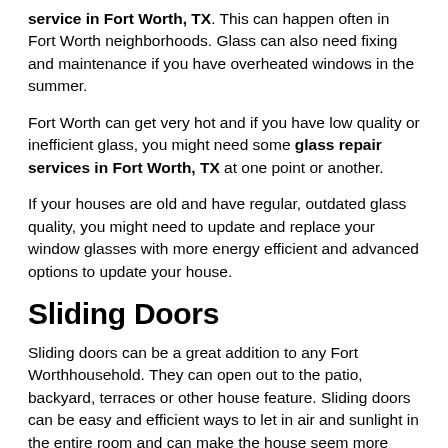service in Fort Worth, TX. This can happen often in Fort Worth neighborhoods. Glass can also need fixing and maintenance if you have overheated windows in the summer.
Fort Worth can get very hot and if you have low quality or inefficient glass, you might need some glass repair services in Fort Worth, TX at one point or another.
If your houses are old and have regular, outdated glass quality, you might need to update and replace your window glasses with more energy efficient and advanced options to update your house.
Sliding Doors
Sliding doors can be a great addition to any Fort Worthhousehold. They can open out to the patio, backyard, terraces or other house feature. Sliding doors can be easy and efficient ways to let in air and sunlight in the entire room and can make the house seem more